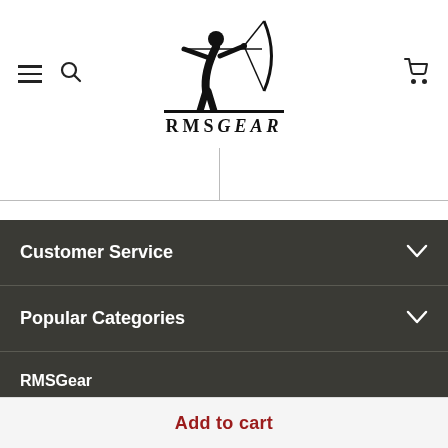[Figure (logo): RMSGear logo with archer silhouette and text RMSGEAR]
Customer Service
Popular Categories
RMSGear
Back in 1995 a brick and mortar traditional archery store was a pipe
Add to cart